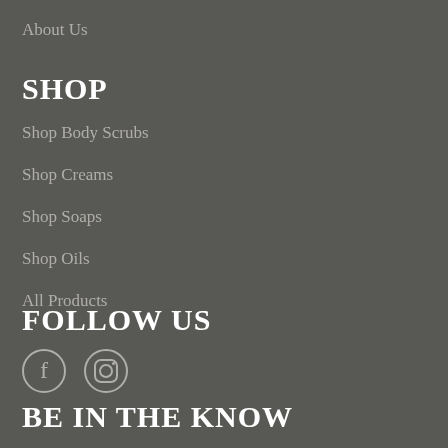About Us
SHOP
Shop Body Scrubs
Shop Creams
Shop Soaps
Shop Oils
All Products
FOLLOW US
[Figure (illustration): Facebook and Instagram social media icons]
BE IN THE KNOW